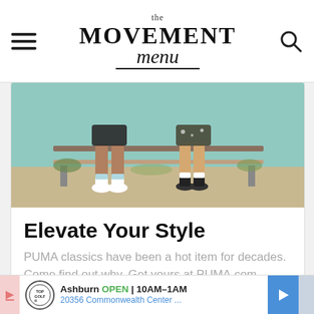the MOVEMENT menu
[Figure (photo): Two people sitting on an outdoor bench/bleacher with teal/green painted wall behind them, wearing Puma shoes and casual clothes, sunny outdoor scene]
Elevate Your Style
PUMA classics have been a hot item for decades. Come find out why. Get yours at PUMA.com
PUMA   Shop Now >
Ashburn OPEN 10AM-1AM 20356 Commonwealth Center ...